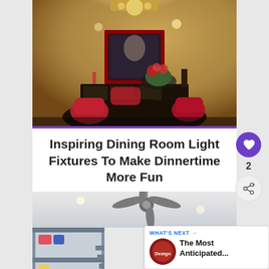[Figure (photo): Dining room with round dark wood table, red tufted chairs, a red-framed mirror on the wall, a floral centerpiece, and a decorative chandelier on the ceiling.]
Inspiring Dining Room Light Fixtures To Make Dinnertime More Fun
[Figure (photo): Room with gray bunk beds, ceiling fan, white walls, and colorful bedding.]
WHAT'S NEXT → The Most Anticipated...